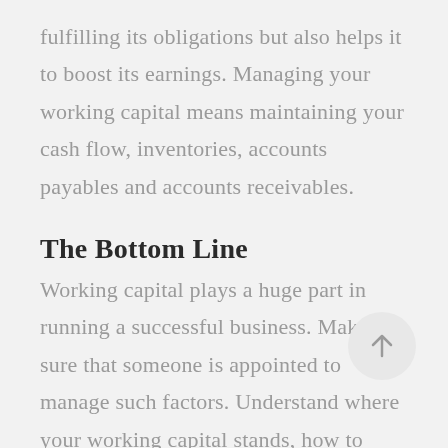fulfilling its obligations but also helps it to boost its earnings. Managing your working capital means maintaining your cash flow, inventories, accounts payables and accounts receivables.
The Bottom Line
Working capital plays a huge part in running a successful business. Make sure that someone is appointed to manage such factors. Understand where your working capital stands, how to calculate it on a regular basis, and the importance of managing